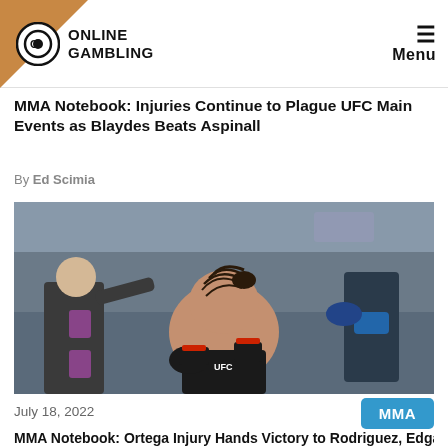ONLINE GAMBLING  Menu
MMA Notebook: Injuries Continue to Plague UFC Main Events as Blaydes Beats Aspinall
By Ed Scimia
[Figure (photo): A UFC fighter sitting on the canvas of the octagon being attended to by medical staff. The fighter has braided hair and is wearing black UFC gloves and shorts. Multiple people in gloves are leaning over him.]
July 18, 2022
MMA
MMA Notebook: Ortega Injury Hands Victory to Rodriguez, Edgar